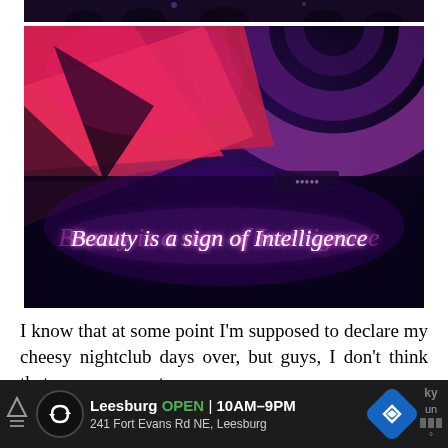[Figure (photo): Top partial photo strip showing a dark nightclub scene with people]
[Figure (photo): Nightclub interior photo with neon pink/purple geometric ceiling art and a neon sign reading 'Beauty is a sign of Intelligence' in cursive pink/purple neon lettering against a dark purple background]
I know that at some point I'm supposed to declare my cheesy nightclub days over, but guys, I don't think that announcement
[Figure (infographic): Advertisement bar: Leesburg OPEN 10AM-9PM, 241 Fort Evans Rd NE, Leesburg with navigation icons]